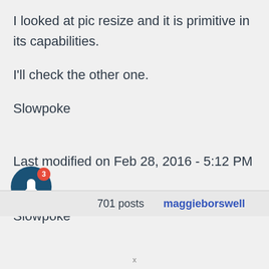I looked at pic resize and it is primitive in its capabilities.
I'll check the other one.
Slowpoke
Last modified on Feb 28, 2016 - 5:12 PM by Slowpoke
[Figure (other): Notification bell icon with badge showing count 3, dark blue circle background]
701 posts   maggieborswell